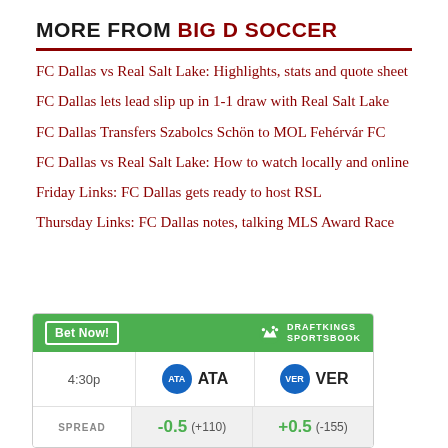MORE FROM BIG D SOCCER
FC Dallas vs Real Salt Lake: Highlights, stats and quote sheet
FC Dallas lets lead slip up in 1-1 draw with Real Salt Lake
FC Dallas Transfers Szabolcs Schön to MOL Fehérvár FC
FC Dallas vs Real Salt Lake: How to watch locally and online
Friday Links: FC Dallas gets ready to host RSL
Thursday Links: FC Dallas notes, talking MLS Award Race
|  | ATA | VER |
| --- | --- | --- |
| 4:30p | ATA | VER |
| SPREAD | -0.5 (+110) | +0.5 (-155) |